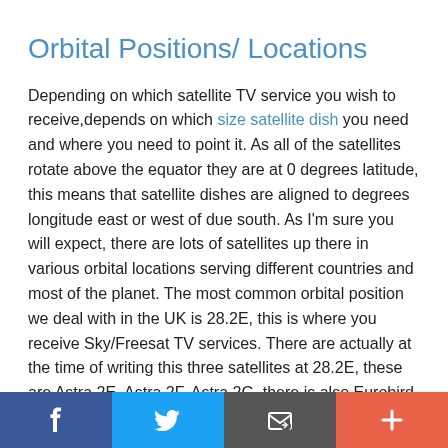Orbital Positions/ Locations
Depending on which satellite TV service you wish to receive,depends on which size satellite dish you need and where you need to point it. As all of the satellites rotate above the equator they are at 0 degrees latitude, this means that satellite dishes are aligned to degrees longitude east or west of due south. As I'm sure you will expect, there are lots of satellites up there in various orbital locations serving different countries and most of the planet. The most common orbital position we deal with in the UK is 28.2E, this is where you receive Sky/Freesat TV services. There are actually at the time of writing this three satellites at 28.2E, these are Astra 2E, Astra 2F, Astra 2G, there is also Eurobird at 28.5E which
[Figure (other): Social media sharing footer bar with Facebook, Twitter, email, and plus icons]